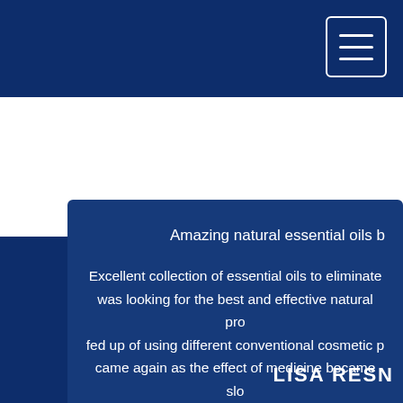[Figure (other): Hamburger menu button (three horizontal lines) in a rounded rectangle border, top right corner, white on dark navy background]
Amazing natural essential oils b
Excellent collection of essential oils to eliminate was looking for the best and effective natural pro fed up of using different conventional cosmetic p came again as the effect of medicine became slo oils from Kush Aroma Exports wiped out all my wonders to my irritated and infected skin. I woulc
LISA RESN